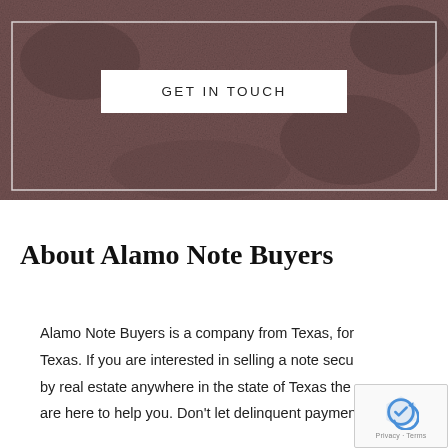[Figure (photo): Dark brownish-grey textured background (rough concrete or soil surface) with a white rectangular border overlay and a white button labeled GET IN TOUCH centered within it.]
About Alamo Note Buyers
Alamo Note Buyers is a company from Texas, for Texas. If you are interested in selling a note secured by real estate anywhere in the state of Texas they are here to help you. Don't let delinquent payments